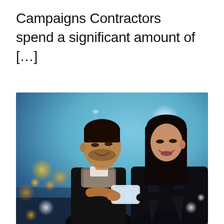Campaigns Contractors spend a significant amount of […]
[Figure (photo): A young couple standing outdoors at night in an urban setting, both smiling and looking at a smartphone held by the man. The background shows blurred bokeh lights in blue and amber tones. The man wears a dark jacket and scarf; the woman wears a dark leather jacket.]